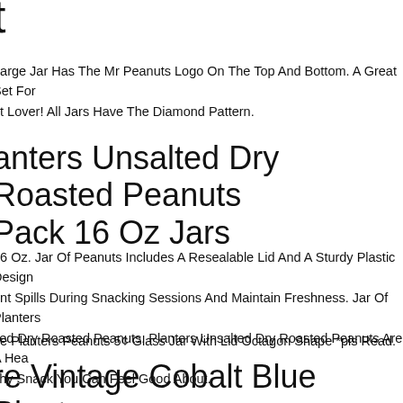t
Large Jar Has The Mr Peanuts Logo On The Top And Bottom. A Great Set For ut Lover! All Jars Have The Diamond Pattern.
anters Unsalted Dry Roasted Peanuts Pack 16 Oz Jars
16 Oz. Jar Of Peanuts Includes A Resealable Lid And A Sturdy Plastic Design ent Spills During Snacking Sessions And Maintain Freshness. Jar Of Planters lted Dry Roasted Peanuts. Planters Unsalted Dry Roasted Peanuts Are A Hea chy Snack You Can Feel Good About.
ge Planters Peanuts 5¢ Glass Jar With Lid Octagon Shape *pls Read.
re Vintage Cobalt Blue Planters nnant 5 Cent Salted Peanuts Jar With d